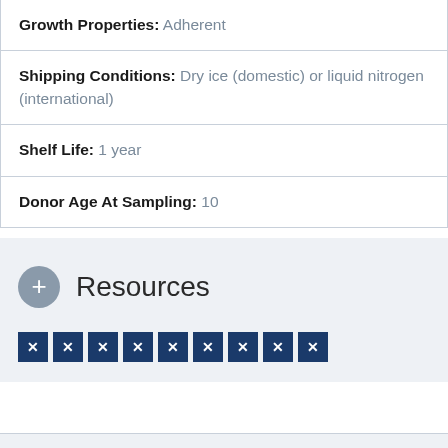Growth Properties: Adherent
Shipping Conditions: Dry ice (domestic) or liquid nitrogen (international)
Shelf Life: 1 year
Donor Age At Sampling: 10
Resources
[Figure (other): Row of 9 small dark blue icon boxes each containing an X symbol]